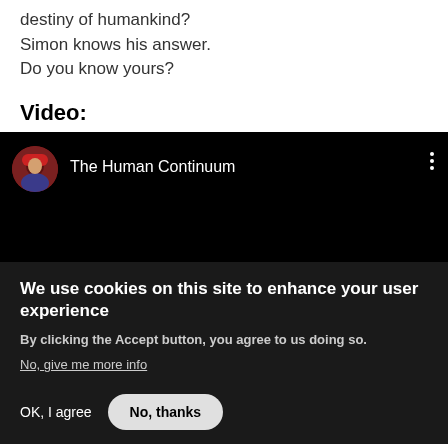destiny of humankind?
Simon knows his answer.
Do you know yours?
Video:
[Figure (screenshot): YouTube-style video embed showing channel avatar and name 'The Human Continuum' on a black background with three-dot menu]
We use cookies on this site to enhance your user experience
By clicking the Accept button, you agree to us doing so.
No, give me more info
OK, I agree   No, thanks